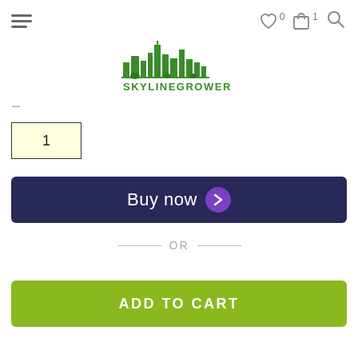[Figure (logo): SkylineGrower logo with green city skyline illustration and green text 'SKYLINEGROWER']
1
Buy now
— OR —
ADD TO CART